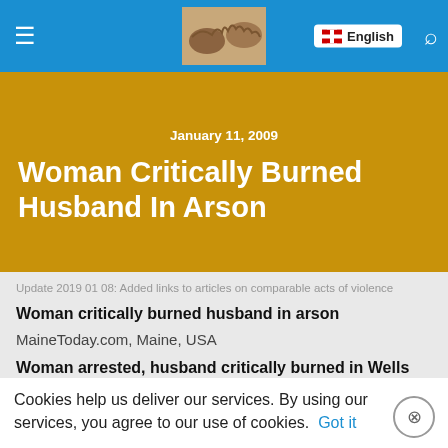Navigation bar with hamburger menu, logo image, English language selector, and search icon
Woman Critically Burned Husband In Arson
January 11, 2009
Update 2019 01 08: Added links to articles on comparable acts of violence
Woman critically burned husband in arson
MaineToday.com, Maine, USA
Woman arrested, husband critically burned in Wells fire
Cookies help us deliver our services. By using our services, you agree to our use of cookies. Got it